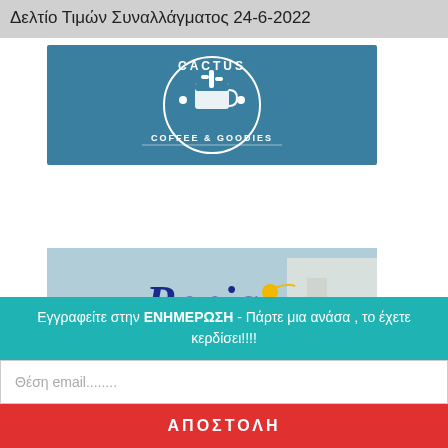Δελτίο Τιμών Συναλλάγματος 24-6-2022
[Figure (logo): Cactus Coffee & Goodies logo — circular white emblem on teal/blue background with text 'CACTUS COFFEE & GOODIES' and a cactus in a coffee cup illustration]
[Figure (logo): Renia Hotel Agia Pelagia Crete logo — cursive 'Renia' text in dark blue with a yellow bird/seagull, subtitle 'HOTEL AGIA PELAGIA CRETE', background shows a light blue sky/sea and white building]
Εγγραφείτε στην ΕΝΗΜΕΡΩΣΗ - Πάρτε μια ανάσα , το έχετε κερδίσει!!!!
Θέση email........
ΑΠΟΣΤΟΛΗ